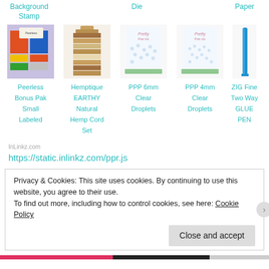Background Stamp
Die
Paper
[Figure (photo): Product images: Peerless Bonus Pak Small Labeled, Hemptique EARTHY Natural Hemp Cord Set, PPP 6mm Clear Droplets, PPP 4mm Clear Droplets, ZIG Fine Two Way GLUE PEN]
Peerless Bonus Pak Small Labeled
Hemptique EARTHY Natural Hemp Cord Set
PPP 6mm Clear Droplets
PPP 4mm Clear Droplets
ZIG Fine Two Way GLUE PEN
InLinkz.com
https://static.inlinkz.com/ppr.js
Privacy & Cookies: This site uses cookies. By continuing to use this website, you agree to their use.
To find out more, including how to control cookies, see here: Cookie Policy
Close and accept